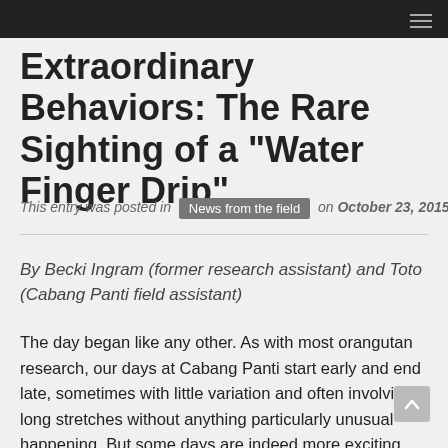Extraordinary Behaviors: The Rare Sighting of a "Water Finger Drip"
This entry was posted in News from the field on October 23, 2015 by gpocp
By Becki Ingram (former research assistant) and Toto (Cabang Panti field assistant)
The day began like any other. As with most orangutan research, our days at Cabang Panti start early and end late, sometimes with little variation and often involving long stretches without anything particularly unusual happening. But some days are indeed more exciting than others – you can't expect or predict them, and they usually happen when you are least expecting it. We were following